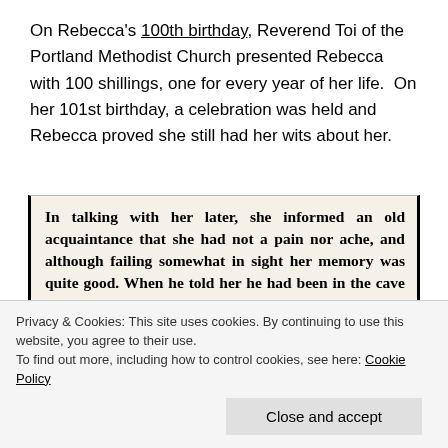On Rebecca's 100th birthday, Reverend Toi of the Portland Methodist Church presented Rebecca with 100 shillings, one for every year of her life. On her 101st birthday, a celebration was held and Rebecca proved she still had her wits about her.
[Figure (photo): Newspaper clipping excerpt in bold serif font reading: 'In talking with her later, she informed an old acquaintance that she had not a pain nor ache, and although failing somewhat in sight her memory was quite good. When he told her he had been in the cave where Toplady composed the "Rock']
Privacy & Cookies: This site uses cookies. By continuing to use this website, you agree to their use.
To find out more, including how to control cookies, see here: Cookie Policy
Close and accept
[Figure (photo): Bottom of newspaper clipping, partially visible, text appears to read: 'I don't look much like a dying ...' and 'be ... I'll ... an example of the']